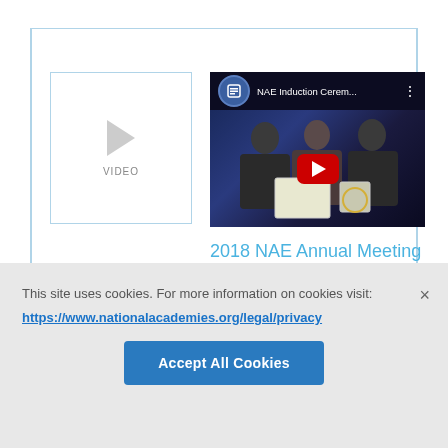[Figure (screenshot): Small video thumbnail placeholder with a play icon triangle and the label VIDEO]
[Figure (screenshot): YouTube video thumbnail for '2018 NAE Annual Meeting Induction Ceremony' showing three people on stage with a document, with a large red YouTube play button in the center]
2018 NAE Annual Meeting Induction Ceremony
This site uses cookies. For more information on cookies visit: https://www.nationalacademies.org/legal/privacy
Accept All Cookies